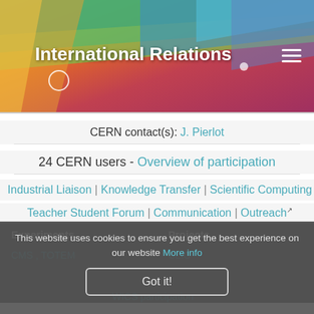[Figure (screenshot): Colorful diagonal stripe banner in green, blue, yellow, and orange hues forming the header background]
International Relations
CERN contact(s): J. Pierlot
24 CERN users - Overview of participation
Industrial Liaison | Knowledge Transfer | Scientific Computing
Teacher Student Forum | Communication | Outreach
This website uses cookies to ensure you get the best experience on our website More info
Got it!
Experiments
Projects
CMS , TOTEM
CLIC
WICOS participation